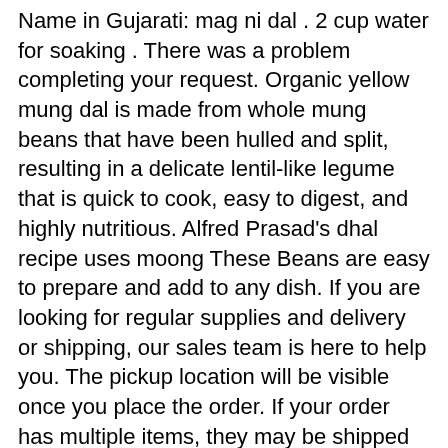Name in Gujarati: mag ni dal . 2 cup water for soaking . There was a problem completing your request. Organic yellow mung dal is made from whole mung beans that have been hulled and split, resulting in a delicate lentil-like legume that is quick to cook, easy to digest, and highly nutritious. Alfred Prasad's dhal recipe uses moong These Beans are easy to prepare and add to any dish. If you are looking for regular supplies and delivery or shipping, our sales team is here to help you. The pickup location will be visible once you place the order. If your order has multiple items, they may be shipped from different warehouses and arrive in different boxes on different dates. Pigeon Peas, split – Arhar, Tuvar, Toor . 2 tbsp coconut milk (optional) 1 cup fresh spinach leaves roughly chopped . Puy lentils: 25-30 minutes. It is a very popular ingredient in East Indian cuisine for its versatility, nutritional benefits, and taste. It has a mild flavor, doesn't require long pre-soaking, cooks quickly, and is easy to digest. When it comes to easy, fuss-free curry recipes lentil dhal is hard to beat. Curbside Pickup: Protein, Iron & Fiber Rich - 10 grams Protein. ½ cup